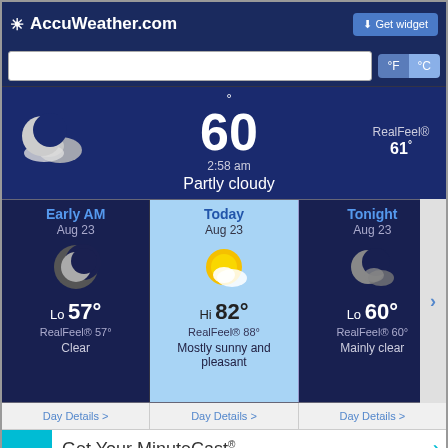AccuWeather.com
60° 2:58 am Partly cloudy RealFeel® 61°
Early AM Aug 23 Lo 57° RealFeel® 57° Clear
Today Aug 23 Hi 82° RealFeel® 88° Mostly sunny and pleasant
Tonight Aug 23 Lo 60° RealFeel® 60° Mainly clear
Day Details > Day Details > Day Details >
Get Your MinuteCast®